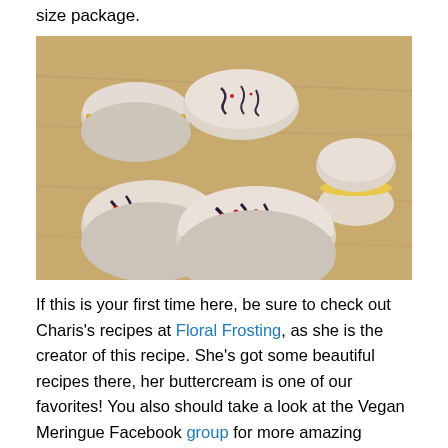size package.
[Figure (photo): A group of French macarons on a wooden surface. The macarons are light beige/white in color with yellow and purple/dark fillings, decorated with dark and red drizzle patterns on top. One macaron stands apart on the right side.]
If this is your first time here, be sure to check out Charis's recipes at Floral Frosting, as she is the creator of this recipe. She's got some beautiful recipes there, her buttercream is one of our favorites! You also should take a look at the Vegan Meringue Facebook group for more amazing recipes. If you have trouble with the directions,